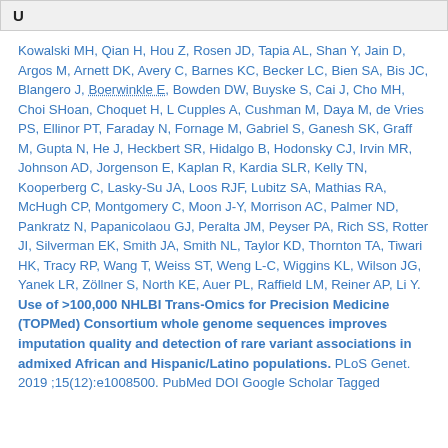U
Kowalski MH, Qian H, Hou Z, Rosen JD, Tapia AL, Shan Y, Jain D, Argos M, Arnett DK, Avery C, Barnes KC, Becker LC, Bien SA, Bis JC, Blangero J, Boerwinkle E, Bowden DW, Buyske S, Cai J, Cho MH, Choi SHoan, Choquet H, L Cupples A, Cushman M, Daya M, de Vries PS, Ellinor PT, Faraday N, Fornage M, Gabriel S, Ganesh SK, Graff M, Gupta N, He J, Heckbert SR, Hidalgo B, Hodonsky CJ, Irvin MR, Johnson AD, Jorgenson E, Kaplan R, Kardia SLR, Kelly TN, Kooperberg C, Lasky-Su JA, Loos RJF, Lubitz SA, Mathias RA, McHugh CP, Montgomery C, Moon J-Y, Morrison AC, Palmer ND, Pankratz N, Papanicolaou GJ, Peralta JM, Peyser PA, Rich SS, Rotter JI, Silverman EK, Smith JA, Smith NL, Taylor KD, Thornton TA, Tiwari HK, Tracy RP, Wang T, Weiss ST, Weng L-C, Wiggins KL, Wilson JG, Yanek LR, Zöllner S, North KE, Auer PL, Raffield LM, Reiner AP, Li Y. Use of >100,000 NHLBI Trans-Omics for Precision Medicine (TOPMed) Consortium whole genome sequences improves imputation quality and detection of rare variant associations in admixed African and Hispanic/Latino populations. PLoS Genet. 2019 ;15(12):e1008500. PubMed DOI Google Scholar Tagged